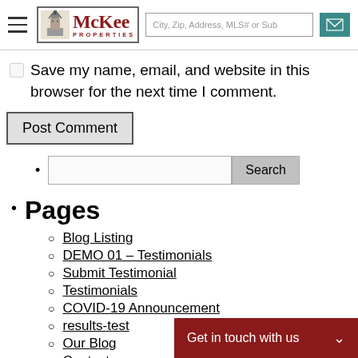McKee Properties — header with hamburger menu, logo, search bar, email icon
Save my name, email, and website in this browser for the next time I comment.
Post Comment
[Figure (screenshot): Search input box with Search button]
Pages
Blog Listing
DEMO 01 – Testimonials
Submit Testimonial
Testimonials
COVID-19 Announcement
results-test
Our Blog
Contact
Thank You Conta
Get in touch with us